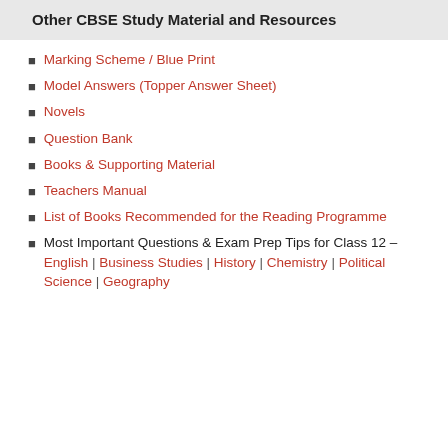Other CBSE Study Material and Resources
Marking Scheme / Blue Print
Model Answers (Topper Answer Sheet)
Novels
Question Bank
Books & Supporting Material
Teachers Manual
List of Books Recommended for the Reading Programme
Most Important Questions & Exam Prep Tips for Class 12 – English | Business Studies | History | Chemistry | Political Science | Geography